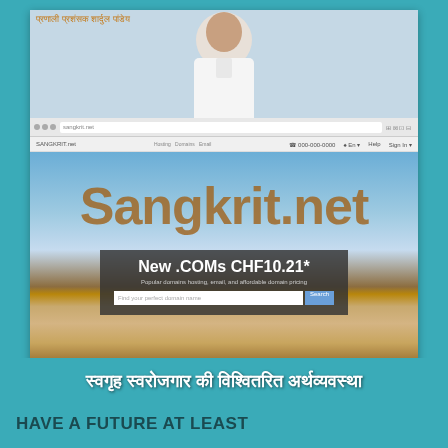[Figure (screenshot): Screenshot of Sangkrit.net website overlaid with large text reading 'Sangkrit.net', a dark box showing 'New .COMs CHF10.21*' with a domain search bar, a city/Zurich background image, Hindi text at the bottom reading 'स्वगृह स्वरोजगार की विश्वितरित अर्थव्यवस्था', and three icons for Domain Registration, cPanel, and Email. Above the screenshot is a person in white clothing (partial photo) with Hindi text 'प्रणाली प्रशंसक शार्दुल पांडेय'.]
HAVE A FUTURE AT LEAST